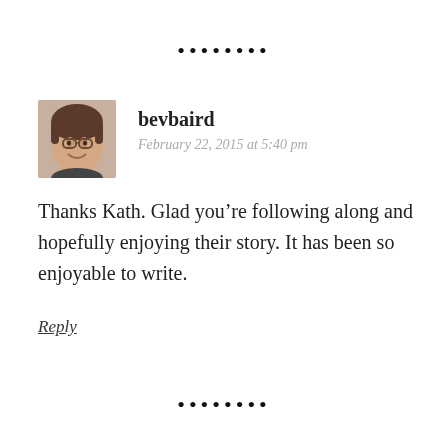[Figure (other): Row of eight black dots as a decorative divider at top]
bevbaird
February 22, 2015 at 5:40 pm
Thanks Kath. Glad you’re following along and hopefully enjoying their story. It has been so enjoyable to write.
Reply
[Figure (other): Row of eight black dots as a decorative divider at bottom]